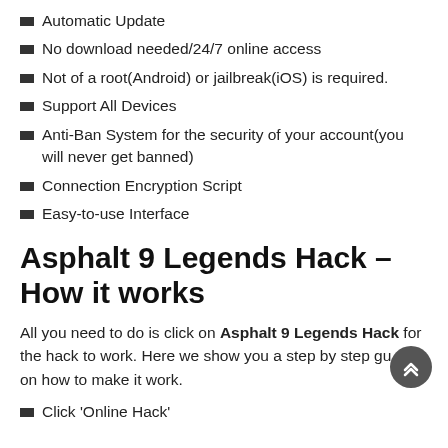Automatic Update
No download needed/24/7 online access
Not of a root(Android) or jailbreak(iOS) is required.
Support All Devices
Anti-Ban System for the security of your account(you will never get banned)
Connection Encryption Script
Easy-to-use Interface
Asphalt 9 Legends Hack – How it works
All you need to do is click on Asphalt 9 Legends Hack for the hack to work. Here we show you a step by step guide on how to make it work.
Click 'Online Hack'